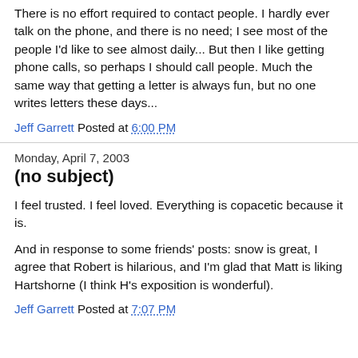There is no effort required to contact people. I hardly ever talk on the phone, and there is no need; I see most of the people I'd like to see almost daily... But then I like getting phone calls, so perhaps I should call people. Much the same way that getting a letter is always fun, but no one writes letters these days...
Jeff Garrett Posted at 6:00 PM
Monday, April 7, 2003
(no subject)
I feel trusted. I feel loved. Everything is copacetic because it is.
And in response to some friends' posts: snow is great, I agree that Robert is hilarious, and I'm glad that Matt is liking Hartshorne (I think H's exposition is wonderful).
Jeff Garrett Posted at 7:07 PM